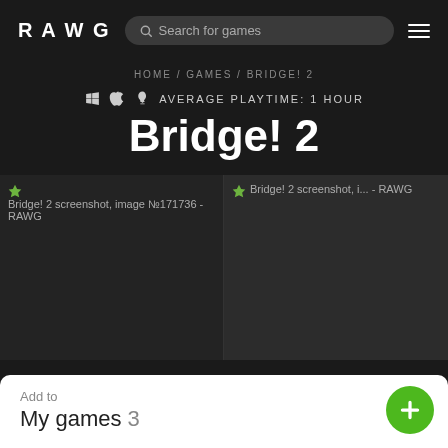RAWG
HOME / GAMES / BRIDGE! 2
AVERAGE PLAYTIME: 1 HOUR
Bridge! 2
[Figure (screenshot): Bridge! 2 screenshot, image №171736 - RAWG]
[Figure (screenshot): Bridge! 2 screenshot, image - RAWG]
Add to
My games 3